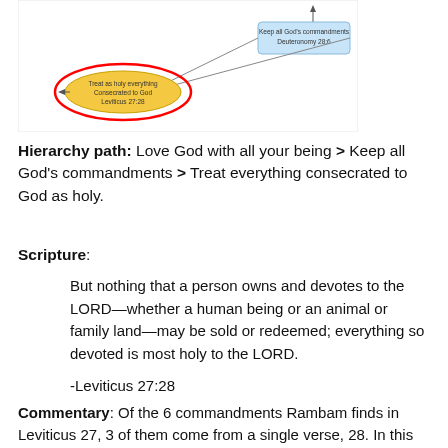[Figure (schematic): Hierarchy diagram showing a line graph structure with two labeled nodes: a blue box labeled 'Keep all God's commandments, Deuteronomy 28:6' at top right connected by lines to a red-circled yellow oval labeled 'Treat as holy everything Consecrated to God, Leviticus 27:28' at bottom left.]
Hierarchy path: Love God with all your being > Keep all God's commandments > Treat everything consecrated to God as holy.
Scripture:
But nothing that a person owns and devotes to the LORD—whether a human being or an animal or family land—may be sold or redeemed; everything so devoted is most holy to the LORD.
-Leviticus 27:28
Commentary: Of the 6 commandments Rambam finds in Leviticus 27, 3 of them come from a single verse, 28. In this commandment, Rambam interprets in a very general way: "Carry out the laws of interdicting possessions." That's our